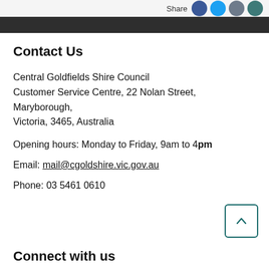Share
Contact Us
Central Goldfields Shire Council
Customer Service Centre, 22 Nolan Street, Maryborough,
Victoria, 3465, Australia
Opening hours: Monday to Friday, 9am to 4pm
Email: mail@cgoldshire.vic.gov.au
Phone: 03 5461 0610
Connect with us